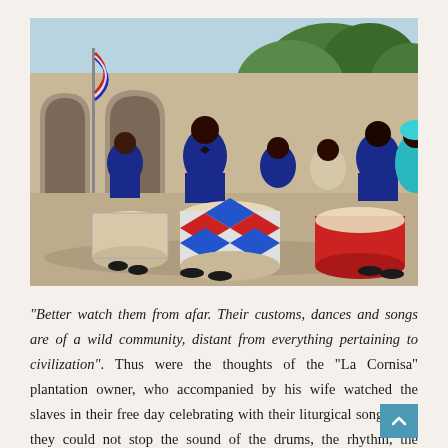[Figure (photo): A group of men in dark navy suits with bow ties sitting and playing large traditional drums (resembling palos or atabales) in an outdoor courtyard with stone arched walls in the background. Trees are visible behind the walls. A woman in a teal/turquoise traditional dress and head wrap stands on the right. A red and white striped flag pole is visible on the left. The drums are decorated with colorful diamond patterns.]
“Better watch them from afar. Their customs, dances and songs are of a wild community, distant from everything pertaining to civilization”. Thus were the thoughts of the “La Cornisa” plantation owner, who accompanied by his wife watched the slaves in their free day celebrating with their liturgical songs. But they could not stop the sound of the drums, the rhythm, the cadence, the heat coming from their feet that, r[cut off]